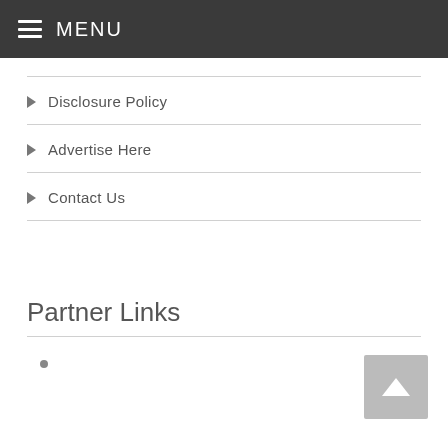MENU
Disclosure Policy
Advertise Here
Contact Us
Partner Links
•